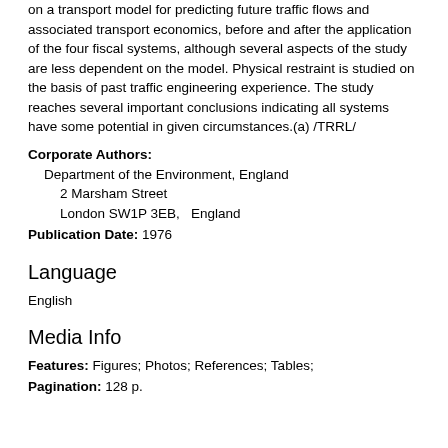on a transport model for predicting future traffic flows and associated transport economics, before and after the application of the four fiscal systems, although several aspects of the study are less dependent on the model. Physical restraint is studied on the basis of past traffic engineering experience. The study reaches several important conclusions indicating all systems have some potential in given circumstances.(a) /TRRL/
Corporate Authors: Department of the Environment, England 2 Marsham Street London SW1P 3EB, England Publication Date: 1976
Language
English
Media Info
Features: Figures; Photos; References; Tables; Pagination: 128 p.